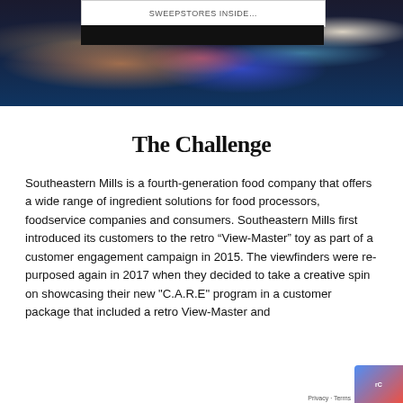[Figure (photo): Dark bokeh background photo with colorful blurred lights (orange, pink, blue, teal, white) on a dark blue/navy background. A white overlay box at the top center contains the text 'SWEEPSTORES INSIDE...' with a dark bar beneath it.]
The Challenge
Southeastern Mills is a fourth-generation food company that offers a wide range of ingredient solutions for food processors, foodservice companies and consumers. Southeastern Mills first introduced its customers to the retro “View-Master” toy as part of a customer engagement campaign in 2015. The viewfinders were re-purposed again in 2017 when they decided to take a creative spin on showcasing their new "C.A.R.E" program in a customer package that included a retro View-Master and...